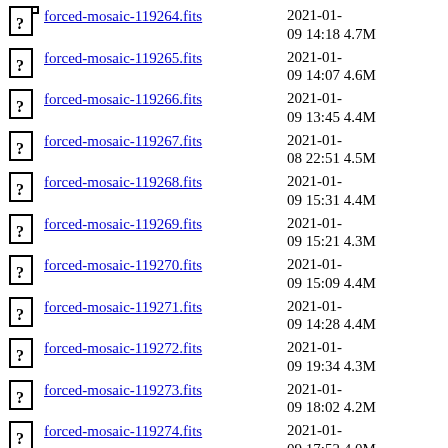forced-mosaic-119264.fits  2021-01-09 14:18  4.7M
forced-mosaic-119265.fits  2021-01-09 14:07  4.6M
forced-mosaic-119266.fits  2021-01-09 13:45  4.4M
forced-mosaic-119267.fits  2021-01-08 22:51  4.5M
forced-mosaic-119268.fits  2021-01-09 15:31  4.4M
forced-mosaic-119269.fits  2021-01-09 15:21  4.3M
forced-mosaic-119270.fits  2021-01-09 15:09  4.4M
forced-mosaic-119271.fits  2021-01-09 14:28  4.4M
forced-mosaic-119272.fits  2021-01-09 19:34  4.3M
forced-mosaic-119273.fits  2021-01-09 18:02  4.2M
forced-mosaic-119274.fits  2021-01-09 17:52  4.0M